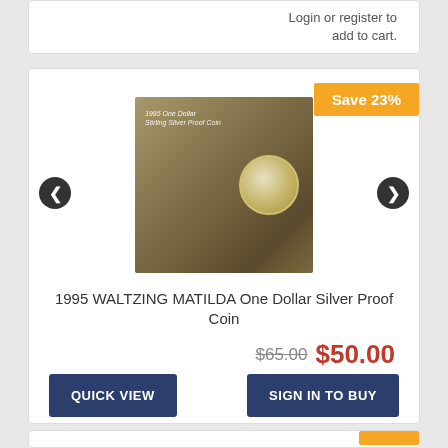Login or register to add to cart.
[Figure (photo): 1995 Waltzing Matilda One Dollar Silver Proof Coin product image showing a decorative card with bushland scene and silver proof coin]
Save 23%
1995 WALTZING MATILDA One Dollar Silver Proof Coin
$65.00 $50.00
QUICK VIEW
SIGN IN TO BUY
Login or register to add to cart.